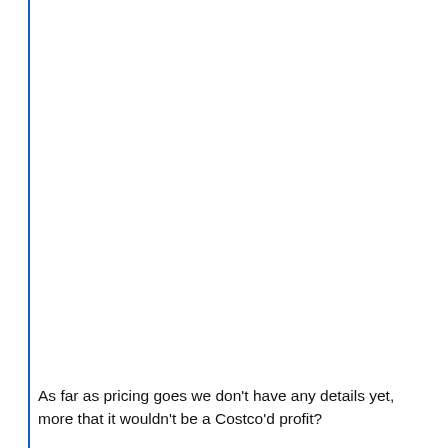As far as pricing goes we don't have any details yet, more that it wouldn't be a Costco'd profit?